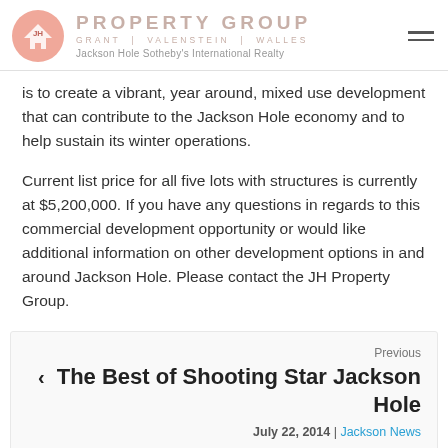PROPERTY GROUP | GRANT | VALENSTEIN | WALLES | Jackson Hole Sotheby's International Realty
is to create a vibrant, year around, mixed use development that can contribute to the Jackson Hole economy and to help sustain its winter operations.
Current list price for all five lots with structures is currently at $5,200,000. If you have any questions in regards to this commercial development opportunity or would like additional information on other development options in and around Jackson Hole. Please contact the JH Property Group.
Previous
The Best of Shooting Star Jackson Hole
July 22, 2014 | Jackson News